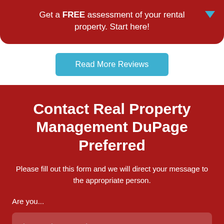Get a FREE assessment of your rental property. Start here!
Read More Reviews
Contact Real Property Management DuPage Preferred
Please fill out this form and we will direct your message to the appropriate person.
Are you...
please select an option